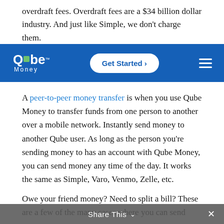overdraft fees. Overdraft fees are a $34 billion dollar industry. And just like Simple, we don't charge them.
[Figure (logo): Qube Money logo with 'Get Started' button and hamburger menu on blue navigation bar]
A peer-to-peer money transfer is when you use Qube Money to transfer funds from one person to another over a mobile network. Instantly send money to another Qube user. As long as the person you're sending money to has an account with Qube Money, you can send money any time of the day. It works the same as Simple, Varo, Venmo, Zelle, etc.
Owe your friend money? Need to split a bill? These are a few of the many cases where you can send
Share This ∨  ✕